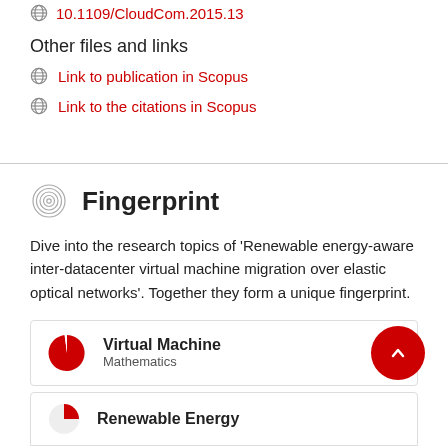10.1109/CloudCom.2015.13
Other files and links
Link to publication in Scopus
Link to the citations in Scopus
Fingerprint
Dive into the research topics of 'Renewable energy-aware inter-datacenter virtual machine migration over elastic optical networks'. Together they form a unique fingerprint.
Virtual Machine
Mathematics
Renewable Energy